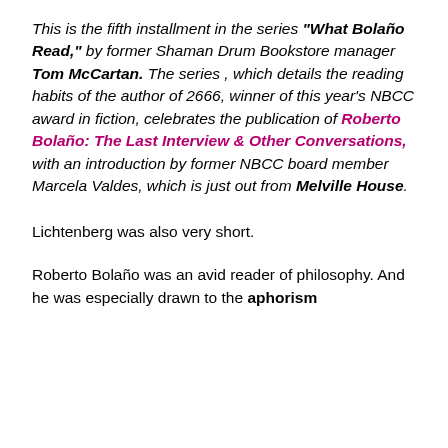This is the fifth installment in the series "What Bolaño Read," by former Shaman Drum Bookstore manager Tom McCartan. The series , which details the reading habits of the author of 2666, winner of this year's NBCC award in fiction, celebrates the publication of Roberto Bolaño: The Last Interview & Other Conversations, with an introduction by former NBCC board member Marcela Valdes, which is just out from Melville House.
Lichtenberg was also very short.
Roberto Bolaño was an avid reader of philosophy. And he was especially drawn to the aphorism